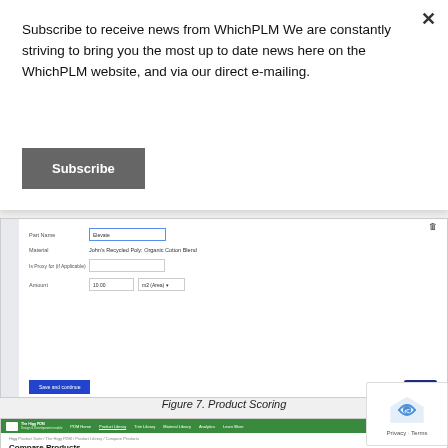Subscribe to receive news from WhichPLM We are constantly striving to bring you the most up to date news here on the WhichPLM website, and via our direct e-mailing.
[Figure (screenshot): A subscribe button (dark grey) labeled 'Subscribe']
[Figure (screenshot): Product Scoring form screenshot showing fields: Part Name (Elevate), Material (John's Recycled Poly: Organic Cotton Blend), Is Proxy for (if Applicable), Amount (0.00 with unit dropdown). Save and continue button and Help button visible.]
Figure 7. Product Scoring
[Figure (screenshot): Compare Products screen in The Higg PDM Design & Development module showing product comparison interface with green navigation bar, breadcrumb trail, and product cards for John's Chino Shoe, HI Chino Shoe, and Company Average.]